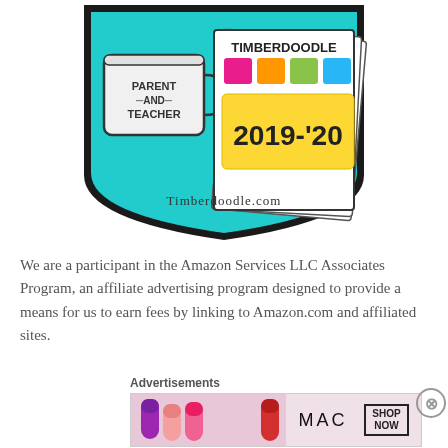[Figure (illustration): Timberdoodle.com badge/logo featuring a coffee mug labeled 'Parent and Teacher', a catalog showing the Timberdoodle logo with colorful squares and '2019-'20', on a teal background with a shield shape. Text at bottom reads 'Timberdoodle.com']
We are a participant in the Amazon Services LLC Associates Program, an affiliate advertising program designed to provide a means for us to earn fees by linking to Amazon.com and affiliated sites.
Advertisements
[Figure (other): MAC Cosmetics advertisement banner showing lipsticks and 'SHOP NOW' button]